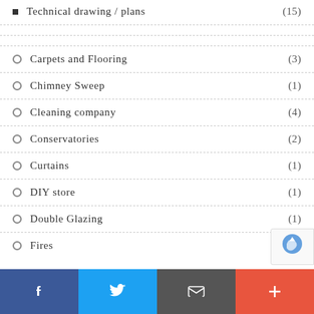Technical drawing / plans (15)
Carpets and Flooring (3)
Chimney Sweep (1)
Cleaning company (4)
Conservatories (2)
Curtains (1)
DIY store (1)
Double Glazing (1)
Fires